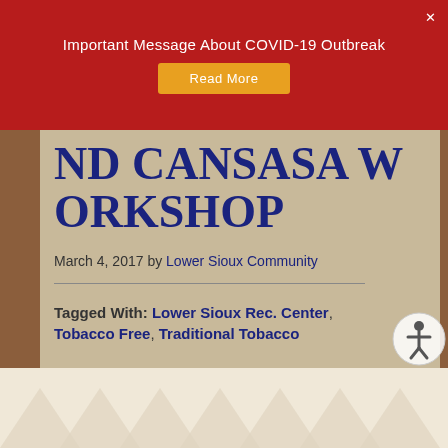Important Message About COVID-19 Outbreak
ND CANSASA WORKSHOP
March 4, 2017 by Lower Sioux Community
Tagged With: Lower Sioux Rec. Center, Tobacco Free, Traditional Tobacco